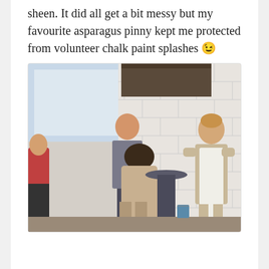sheen. It did all get a bit messy but my favourite asparagus pinny kept me protected from volunteer chalk paint splashes 😉
[Figure (photo): Indoor scene with white subway tile walls. A woman wearing a white apron stands smiling with hands on hips on the right. Another person leans over a dark pedestal/stool in the center. A man in a grey t-shirt stands in the background left. Another person partially visible on the far left.]